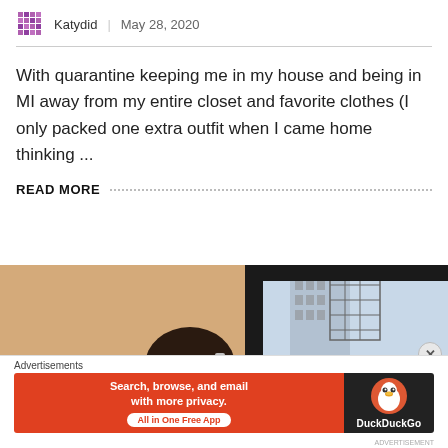Katydid  |  May 28, 2020
With quarantine keeping me in my house and being in MI away from my entire closet and favorite clothes (I only packed one extra outfit when I came home thinking ...
READ MORE
[Figure (photo): Photo of a person seen from behind looking out a window, with an urban building visible outside.]
Advertisements
[Figure (other): DuckDuckGo advertisement banner: 'Search, browse, and email with more privacy. All in One Free App' on orange background with DuckDuckGo logo on dark background.]